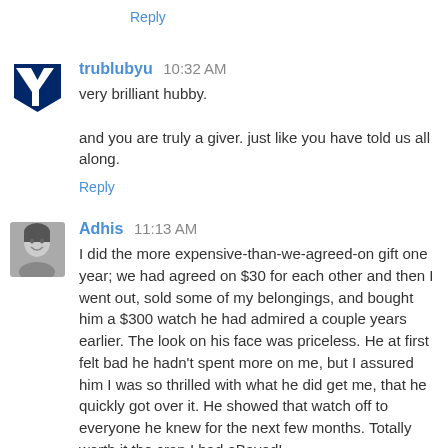Reply
trublubyu  10:32 AM
very brilliant hubby.

and you are truly a giver. just like you have told us all along.
Reply
Adhis  11:13 AM
I did the more expensive-than-we-agreed-on gift one year; we had agreed on $30 for each other and then I went out, sold some of my belongings, and bought him a $300 watch he had admired a couple years earlier. The look on his face was priceless. He at first felt bad he hadn't spent more on me, but I assured him I was so thrilled with what he did get me, that he quickly got over it. He showed that watch off to everyone he knew for the next few months. Totally worth it the crap I had eBayed!
Reply